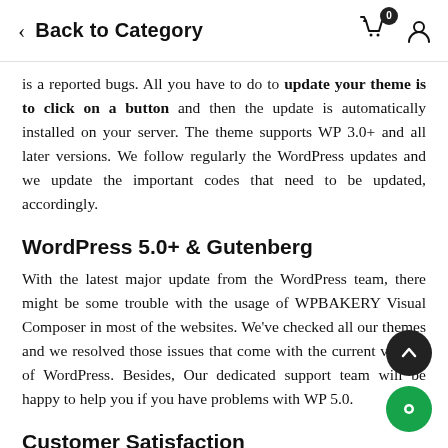Back to Category
is a reported bugs. All you have to do to update your theme is to click on a button and then the update is automatically installed on your server. The theme supports WP 3.0+ and all later versions. We follow regularly the WordPress updates and we update the important codes that need to be updated, accordingly.
WordPress 5.0+ & Gutenberg
With the latest major update from the WordPress team, there might be some trouble with the usage of WPBAKERY Visual Composer in most of the websites. We've checked all our themes and we resolved those issues that come with the current version of WordPress. Besides, Our dedicated support team will be happy to help you if you have problems with WP 5.0.
Customer Satisfaction